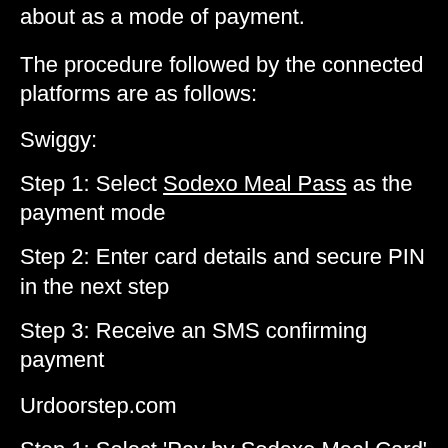about as a mode of payment.
The procedure followed by the connected platforms are as follows:
Swiggy:
Step 1: Select Sodexo Meal Pass as the payment mode
Step 2: Enter card details and secure PIN in the next step
Step 3: Receive an SMS confirming payment
Urdoorstep.com
Step 1: Select ‘Pay by Sodexo Meal Card’ as payment mode
Step 2: The delivery boy will arrive with your order and the Sodexo terminal...